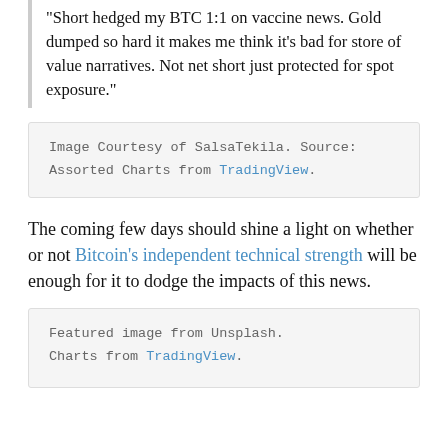“Short hedged my BTC 1:1 on vaccine news. Gold dumped so hard it makes me think it’s bad for store of value narratives. Not net short just protected for spot exposure.”
Image Courtesy of SalsaTekila. Source: Assorted Charts from TradingView.
The coming few days should shine a light on whether or not Bitcoin’s independent technical strength will be enough for it to dodge the impacts of this news.
Featured image from Unsplash. Charts from TradingView.